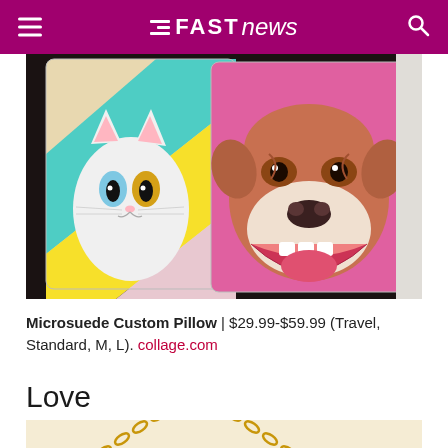Fast News
[Figure (photo): Photo of two decorative pillows: one with a white cat with blue/odd eyes, one with a brown bulldog, on a dark surface with colorful pink/yellow/teal backgrounds on the pillows.]
Microsuede Custom Pillow | $29.99-$59.99 (Travel, Standard, M, L). collage.com
Love
[Figure (photo): Partial photo showing a gold chain necklace on a light/cream background.]